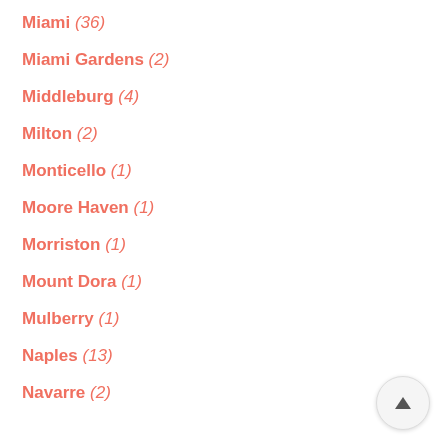Miami (36)
Miami Gardens (2)
Middleburg (4)
Milton (2)
Monticello (1)
Moore Haven (1)
Morriston (1)
Mount Dora (1)
Mulberry (1)
Naples (13)
Navarre (2)